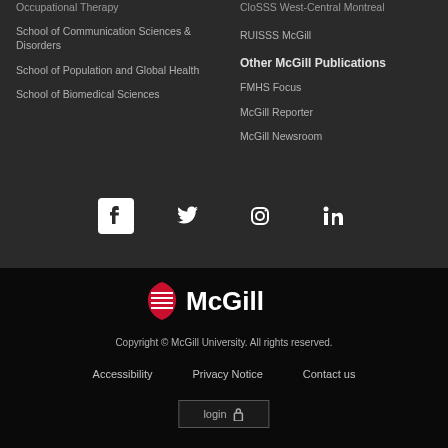Occupational Therapy
School of Communication Sciences & Disorders
School of Population and Global Health
School of Biomedical Sciences
CloSSS West-Central Montreal
RUISSS McGill
Other McGill Publications
FMHS Focus
McGill Reporter
McGill Newsroom
[Figure (logo): Social media icons: Facebook, Twitter, Instagram, LinkedIn]
[Figure (logo): McGill University shield logo with McGill wordmark in white on black background]
Copyright © McGill University. All rights reserved.
Accessibility   Privacy Notice   Contact us
login 🔒